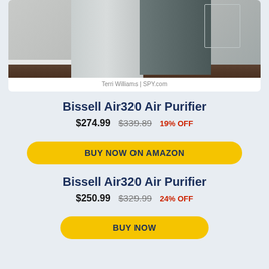[Figure (photo): Photo of two Bissell Air320 air purifiers side by side against a wall on a wood floor. One is light gray/white, the other is dark gray/fabric. Photo credit: Terri Williams | SPY.com]
Terri Williams | SPY.com
Bissell Air320 Air Purifier
$274.99  $339.89  19% OFF
BUY NOW ON AMAZON
Bissell Air320 Air Purifier
$250.99  $329.99  24% OFF
BUY NOW